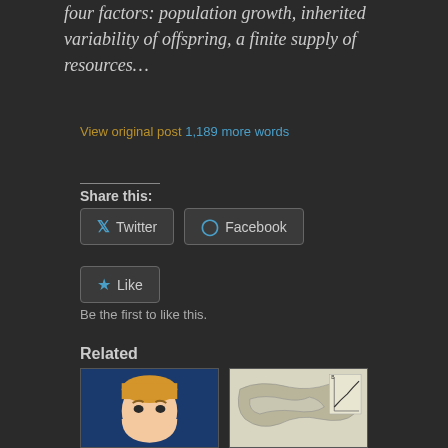four factors: population growth, inherited variability of offspring, a finite supply of resources…
View original post 1,189 more words
Share this:
Twitter
Facebook
Like
Be the first to like this.
Related
[Figure (illustration): Illustrated cartoon character with blond hair on blue background]
[Figure (map): Map with geographical outlines and a graph overlay]